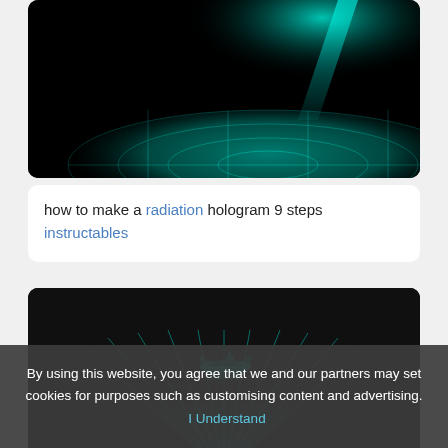[Figure (illustration): Dark image showing a glowing cyan/teal holographic planet or disc shape with a beam of light above it on a black background]
how to make a radiation hologram 9 steps
instructables
[Figure (illustration): Dark image showing a glowing cyan/teal holographic jet aircraft projected upward with radiating light beams from a base point on a textured dark surface]
By using this website, you agree that we and our partners may set cookies for purposes such as customising content and advertising.  I Understand